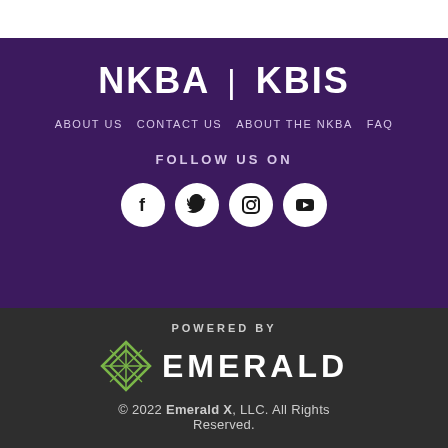[Figure (logo): NKBA | KBIS logo in white text on purple background]
ABOUT US   CONTACT US   About the NKBA   FAQ
FOLLOW US ON
[Figure (illustration): Four social media icons (Facebook, Twitter, Instagram, YouTube) as white circles]
POWERED BY
[Figure (logo): Emerald logo with green diamond icon and EMERALD wordmark in white]
© 2022 Emerald X, LLC. All Rights Reserved.